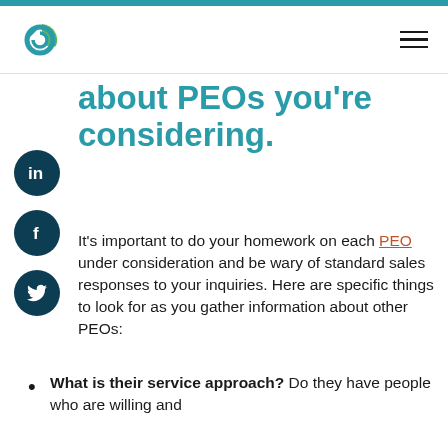about PEOs you're considering.
It's important to do your homework on each PEO under consideration and be wary of standard sales responses to your inquiries. Here are specific things to look for as you gather information about other PEOs:
What is their service approach? Do they have people who are willing and